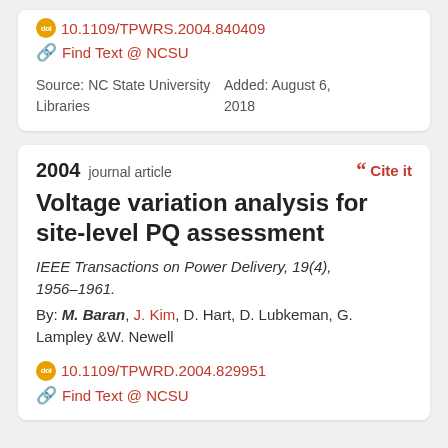10.1109/TPWRS.2004.840409
Find Text @ NCSU
Source: NC State University Libraries
Added: August 6, 2018
2004 journal article
Cite it
Voltage variation analysis for site-level PQ assessment
IEEE Transactions on Power Delivery, 19(4), 1956–1961.
By: M. Baran, J. Kim, D. Hart, D. Lubkeman, G. Lampley & W. Newell
10.1109/TPWRD.2004.829951
Find Text @ NCSU